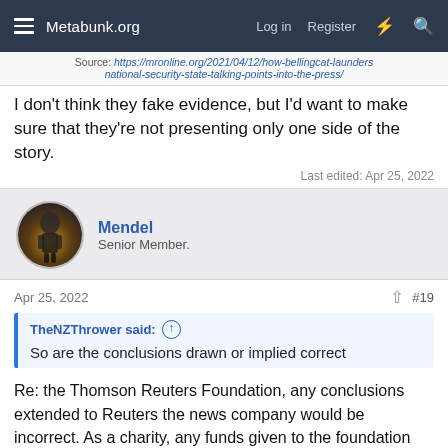Metabunk.org  Log in  Register
Source: https://mronline.org/2021/04/12/how-bellingcat-launders-national-security-state-talking-points-into-the-press/
I don't think they fake evidence, but I'd want to make sure that they're not presenting only one side of the story.
Last edited: Apr 25, 2022
Mendel
Senior Member.
Apr 25, 2022  #19
TheNZThrower said:
So are the conclusions drawn or implied correct
Re: the Thomson Reuters Foundation, any conclusions extended to Reuters the news company would be incorrect. As a charity, any funds given to the foundation can't be converted into earnings for the news company, so there can't be influence in that direction.